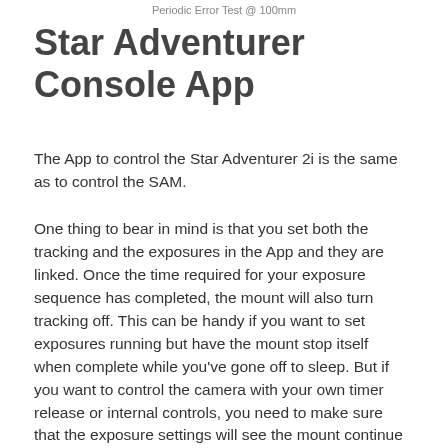Periodic Error Test @ 100mm
Star Adventurer Console App
The App to control the Star Adventurer 2i is the same as to control the SAM.
One thing to bear in mind is that you set both the tracking and the exposures in the App and they are linked. Once the time required for your exposure sequence has completed, the mount will also turn tracking off. This can be handy if you want to set exposures running but have the mount stop itself when complete while you've gone off to sleep. But if you want to control the camera with your own timer release or internal controls, you need to make sure that the exposure settings will see the mount continue running for that period of time. Whatever settings you last use are also programmed in to the relevant dial on the mount so you can reuse them without